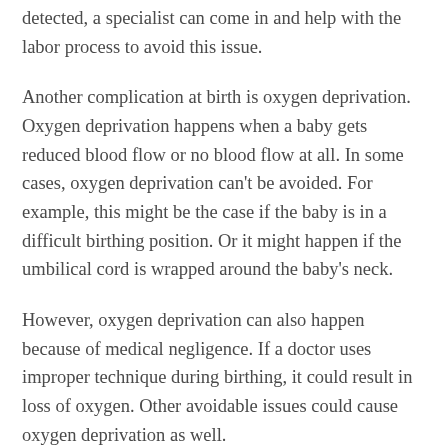detected, a specialist can come in and help with the labor process to avoid this issue.
Another complication at birth is oxygen deprivation. Oxygen deprivation happens when a baby gets reduced blood flow or no blood flow at all. In some cases, oxygen deprivation can't be avoided. For example, this might be the case if the baby is in a difficult birthing position. Or it might happen if the umbilical cord is wrapped around the baby's neck.
However, oxygen deprivation can also happen because of medical negligence. If a doctor uses improper technique during birthing, it could result in loss of oxygen. Other avoidable issues could cause oxygen deprivation as well.
Finally, there is cerebral palsy. This is a medical condition